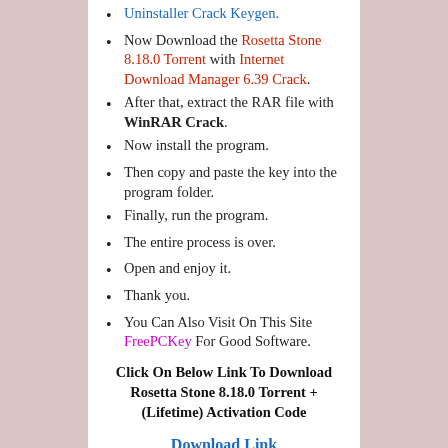Uninstaller Crack Keygen.
Now Download the Rosetta Stone 8.18.0 Torrent with Internet Download Manager 6.39 Crack.
After that, extract the RAR file with WinRAR Crack.
Now install the program.
Then copy and paste the key into the program folder.
Finally, run the program.
The entire process is over.
Open and enjoy it.
Thank you.
You Can Also Visit On This Site FreePCKey For Good Software.
Click On Below Link To Download Rosetta Stone 8.18.0 Torrent + (Lifetime) Activation Code
Download Link